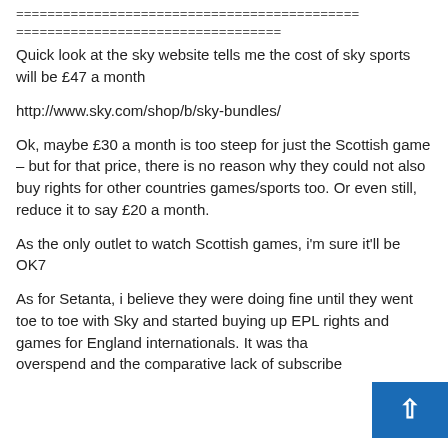============================================================
===================================
Quick look at the sky website tells me the cost of sky sports will be £47 a month
http://www.sky.com/shop/b/sky-bundles/
Ok, maybe £30 a month is too steep for just the Scottish game – but for that price, there is no reason why they could not also buy rights for other countries games/sports too. Or even still, reduce it to say £20 a month.
As the only outlet to watch Scottish games, i'm sure it'll be OK7
As for Setanta, i believe they were doing fine until they went toe to toe with Sky and started buying up EPL rights and games for England internationals. It was that overspend and the comparative lack of subscribe...